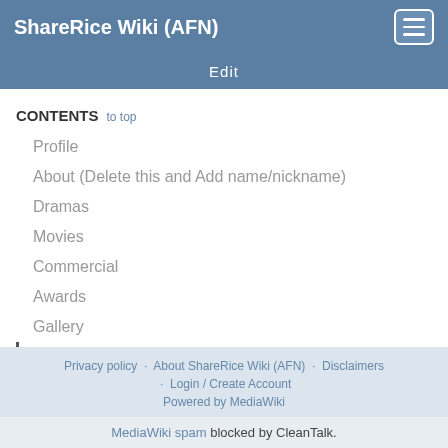ShareRice Wiki (AFN)
Edit
CONTENTS  to top
Profile
About (Delete this and Add name/nickname)
Dramas
Movies
Commercial
Awards
Gallery
Links
Privacy policy · About ShareRice Wiki (AFN) · Disclaimers · Login / Create Account
Powered by MediaWiki
MediaWiki spam blocked by CleanTalk.